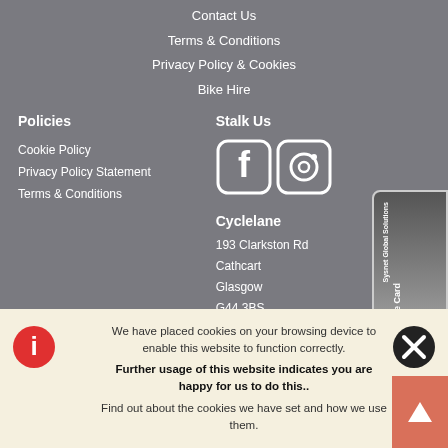Contact Us
Terms & Conditions
Privacy Policy & Cookies
Bike Hire
Policies
Cookie Policy
Privacy Policy Statement
Terms & Conditions
Stalk Us
[Figure (logo): Facebook and Instagram social media icons in white on grey rounded square backgrounds]
Cyclelane
193 Clarkston Rd
Cathcart
Glasgow
G44 3BS
Tel: 0141 637 2439
[Figure (illustration): Partial view of Sysnet Global Solutions Assurance Card with orange arrow button]
We have placed cookies on your browsing device to enable this website to function correctly.
Further usage of this website indicates you are happy for us to do this..
Find out about the cookies we have set and how we use them.